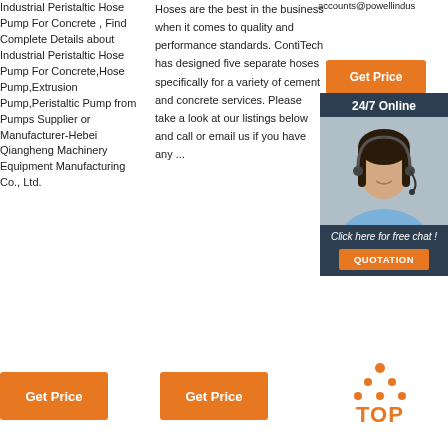Industrial Peristaltic Hose Pump For Concrete , Find Complete Details about Industrial Peristaltic Hose Pump For Concrete,Hose Pump,Extrusion Pump,Peristaltic Pump from Pumps Supplier or Manufacturer-Hebei Qiangheng Machinery Equipment Manufacturing Co., Ltd.
Hoses are the best in the business when it comes to quality and performance standards. ContiTech has designed five separate hoses specifically for a variety of cement and concrete services. Please take a look at our listings below and call or email us if you have any ...
accounts@powellindus
[Figure (photo): Orange Get Price button at top right]
[Figure (photo): Dark sidebar with 24/7 Online label, customer service representative photo, Click here for free chat text, and QUOTATION orange button]
[Figure (other): Orange Get Price button at bottom left]
[Figure (other): Orange Get Price button at bottom middle]
[Figure (other): TOP icon with orange dots and text at bottom right]